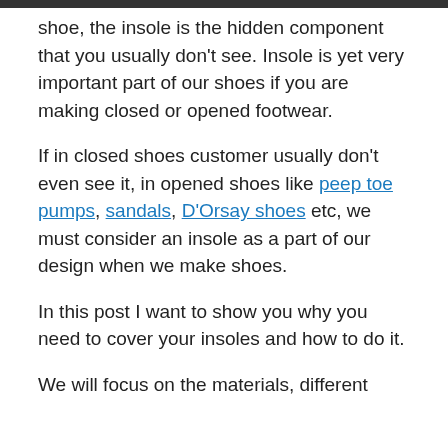shoe, the insole is the hidden component that you usually don't see. Insole is yet very important part of our shoes if you are making closed or opened footwear.
If in closed shoes customer usually don't even see it, in opened shoes like peep toe pumps, sandals, D'Orsay shoes etc, we must consider an insole as a part of our design when we make shoes.
In this post I want to show you why you need to cover your insoles and how to do it.
We will focus on the materials, different